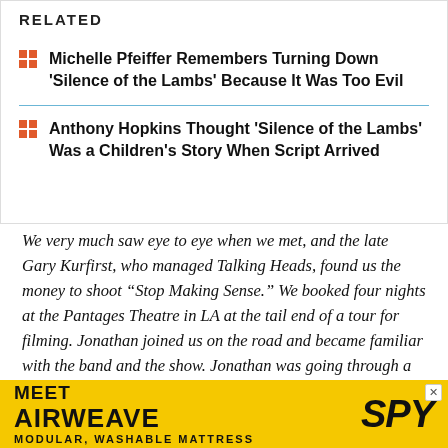RELATED
Michelle Pfeiffer Remembers Turning Down 'Silence of the Lambs' Because It Was Too Evil
Anthony Hopkins Thought 'Silence of the Lambs' Was a Children's Story When Script Arrived
We very much saw eye to eye when we met, and the late Gary Kurfirst, who managed Talking Heads, found us the money to shoot “Stop Making Sense.” We booked four nights at the Pantages Theatre in LA at the tail end of a tour for filming. Jonathan joined us on the road and became familiar with the band and the show. Jonathan was going through a bit of a nightmare during filming—a studio and a star wanted him to reshoot parts of a big budget film
[Figure (other): Advertisement banner: MEET AIRWEAVE - MODULAR, WASHABLE MATTRESS with SPY logo on yellow background]